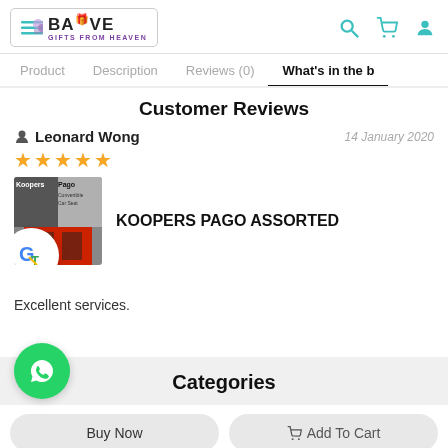BABIVE GIFTS FROM HEAVEN
Product | Description | Reviews (0) | What's in the b
Customer Reviews
Leonard Wong — 14 January 2020
★★★★★
[Figure (photo): Product image of Koopers Pago convertible car seat, shown with Google Translate overlay bubble]
KOOPERS PAGO ASSORTED
Excellent services.
[Figure (logo): WhatsApp green circle button with phone icon]
Categories
Buy Now   Add To Cart
Hair Accessories